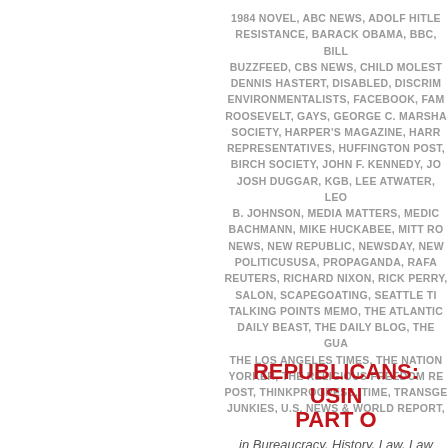1984 NOVEL, ABC NEWS, ADOLF HITLER, AMERICAN RESISTANCE, BARACK OBAMA, BBC, BILL..., BUZZFEED, CBS NEWS, CHILD MOLEST..., DENNIS HASTERT, DISABLED, DISCRIM..., ENVIRONMENTALISTS, FACEBOOK, FAM..., ROOSEVELT, GAYS, GEORGE C. MARSHA..., SOCIETY, HARPER'S MAGAZINE, HARR..., REPRESENTATIVES, HUFFINGTON POST, J..., BIRCH SOCIETY, JOHN F. KENNEDY, JO..., JOSH DUGGAR, KGB, LEE ATWATER, LEO..., B. JOHNSON, MEDIA MATTERS, MEDIC..., BACHMANN, MIKE HUCKABEE, MITT RO..., NEWS, NEW REPUBLIC, NEWSDAY, NEW..., POLITICUSUSA, PROPAGANDA, RAFA..., REUTERS, RICHARD NIXON, RICK PERRY..., SALON, SCAPEGOATING, SEATTLE TI..., TALKING POINTS MEMO, THE ATLANTIC..., DAILY BEAST, THE DAILY BLOG, THE GUA..., THE LOS ANGELES TIMES, THE NATION..., YORKER, THE RELIGIOUS FREEDOM RE..., POST, THINKPROGRESS, TIME, TRANSGE..., JUNKIES, U.S. NEWS & WORLD REPORT,...
REPUBLICANS: USIN... PART O...
in Bureaucracy, History, Law, Law Enforce...